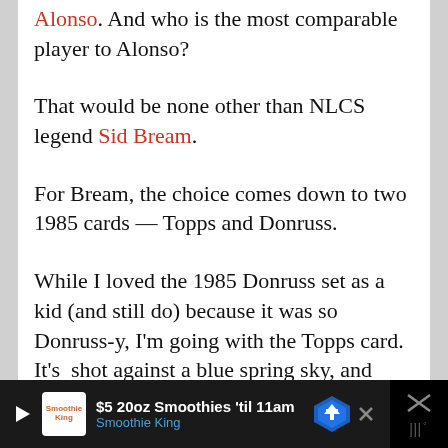Alonso. And who is the most comparable player to Alonso?
That would be none other than NLCS legend Sid Bream.
For Bream, the choice comes down to two 1985 cards — Topps and Donruss.
While I loved the 1985 Donruss set as a kid (and still do) because it was so Donruss-y, I'm going with the Topps card. It's  shot against a blue spring sky, and Bream looks great in his Dodger Blues.
For Alonzo, there seem to be several 2011 cards
[Figure (screenshot): Advertisement banner for Smoothie King: '$5 20oz Smoothies 'til 11am' with Smoothie King logo and navigation arrow icon. Dark background with close button on the right.]